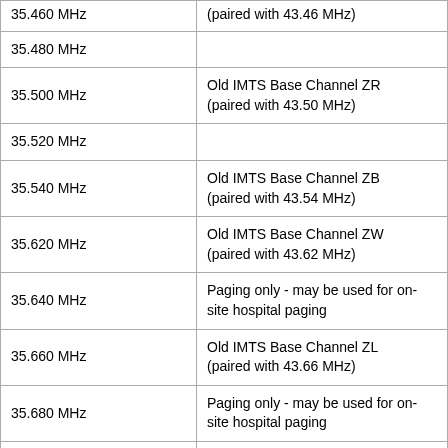| Frequency | Notes |
| --- | --- |
| 35.460 MHz | (paired with 43.46 MHz) |
| 35.480 MHz |  |
| 35.500 MHz | Old IMTS Base Channel ZR
(paired with 43.50 MHz) |
| 35.520 MHz |  |
| 35.540 MHz | Old IMTS Base Channel ZB
(paired with 43.54 MHz) |
| 35.620 MHz | Old IMTS Base Channel ZW
(paired with 43.62 MHz) |
| 35.640 MHz | Paging only - may be used for on-site hospital paging |
| 35.660 MHz | Old IMTS Base Channel ZL
(paired with 43.66 MHz) |
| 35.680 MHz | Paging only - may be used for on-site hospital paging |
| 35.700 MHz |  |
| 35.720 MHz |  |
| 35.740 MHz |  |
| 35.760 MHz |  |